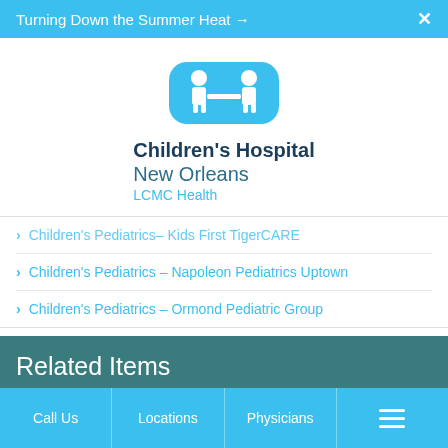Turning Down the Summer Heat →  X
[Figure (logo): Children's Hospital New Orleans LCMC Health logo with two children figures in teal]
Children's Pediatrics – Kids First TigerCARE
Children's Pediatrics – Napoleon Pediatrics Uptown
Children's Pediatrics – Ormond Pediatric Group
Related Items
Patient Education
Call Us   Locations   Physicians   ☰